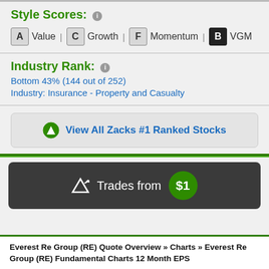Style Scores:
A Value | C Growth | F Momentum | B VGM
Industry Rank:
Bottom 43% (144 out of 252)
Industry: Insurance - Property and Casualty
View All Zacks #1 Ranked Stocks
[Figure (infographic): Dark banner with triangle arrow icon and text 'Trades from $1']
Everest Re Group (RE) Quote Overview » Charts » Everest Re Group (RE) Fundamental Charts 12 Month EPS